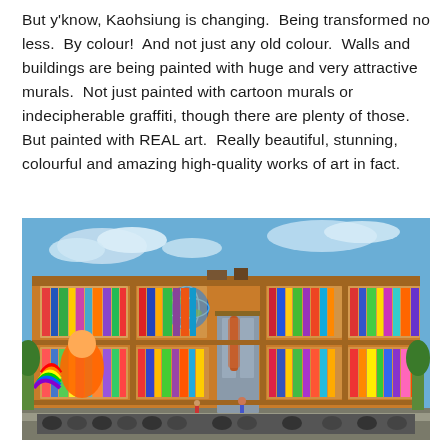But y'know, Kaohsiung is changing.  Being transformed no less.  By colour!  And not just any old colour.  Walls and buildings are being painted with huge and very attractive murals.  Not just painted with cartoon murals or indecipherable graffiti, though there are plenty of those.  But painted with REAL art.  Really beautiful, stunning, colourful and amazing high-quality works of art in fact.
[Figure (photo): A large building with a colourful mural painted on its facade depicting giant bookshelves filled with colourful books and a large cartoon character. Blue sky with light clouds above. Motorcycles parked in front of the building.]